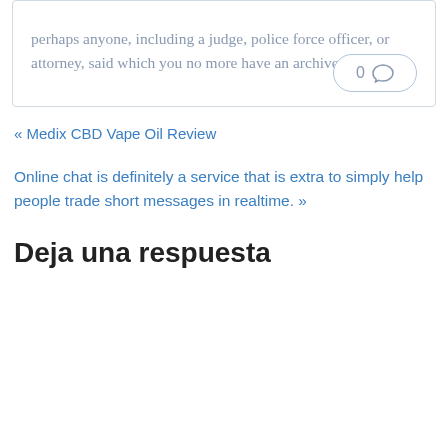perhaps anyone, including a judge, police force officer, or attorney, said which you no more have an archive.
0
« Medix CBD Vape Oil Review
Online chat is definitely a service that is extra to simply help people trade short messages in realtime. »
Deja una respuesta